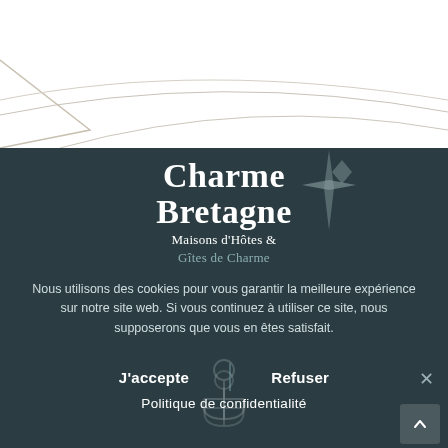[Figure (illustration): White background top section with decorative arrow/chevron shape and curved lines in light beige/gray color, pointing left]
[Figure (logo): Charme Bretagne logo - text logo with decorative compass/star symbol. Text reads 'Charme Bretagne' in serif font, subtitle 'Maisons d'Hôtes & Gîtes de Charme']
Nous utilisons des cookies pour vous garantir la meilleure expérience sur notre site web. Si vous continuez à utiliser ce site, nous supposerons que vous en êtes satisfait.
J'accepte
Refuser
Politique de confidentialité